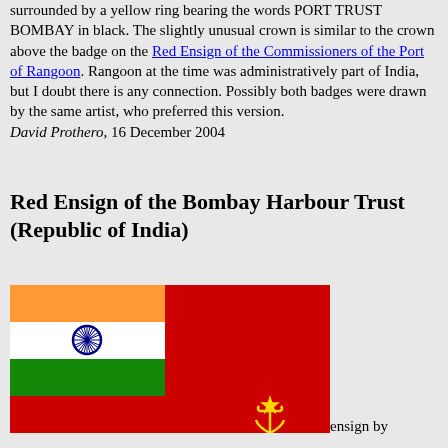surrounded by a yellow ring bearing the words PORT TRUST BOMBAY in black. The slightly unusual crown is similar to the crown above the badge on the Red Ensign of the Commissioners of the Port of Rangoon. Rangoon at the time was administratively part of India, but I doubt there is any connection. Possibly both badges were drawn by the same artist, who preferred this version.
David Prothero, 16 December 2004
Red Ensign of the Bombay Harbour Trust (Republic of India)
[Figure (illustration): Red ensign of the Bombay Harbour Trust (Republic of India). The flag is predominantly red with the Indian tricolor (saffron, white with blue Ashoka Chakra, green) in the canton (upper left), and a yellow badge in the lower right showing an anchor with a star above it.]
ensign by